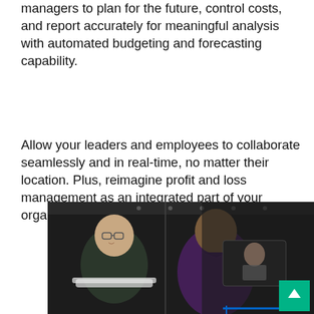Enable your finance and departmental managers to plan for the future, control costs, and report accurately for meaningful analysis with automated budgeting and forecasting capability.
Allow your leaders and employees to collaborate seamlessly and in real-time, no matter their location. Plus, reimagine profit and loss management as an integrated part of your organisation.
[Figure (photo): Two business professionals, one smiling wearing glasses and a dark shirt, the other in a purple shirt, looking at a laptop together in a dark office setting. A third person is visible in the background on a screen or in a separate pane, appearing to be on a video call.]